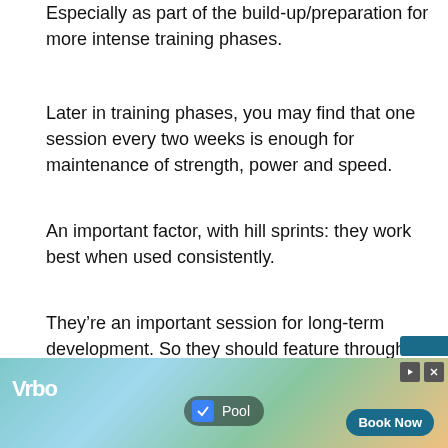Especially as part of the build-up/preparation for more intense training phases.
Later in training phases, you may find that one session every two weeks is enough for maintenance of strength, power and speed.
An important factor, with hill sprints: they work best when used consistently.
They’re an important session for long-term development. So they should feature throughout the training year.
A point to note: don’t expect big short-term results.
[Figure (other): Vrbo advertisement banner showing a pool scene with a checkbox filter for 'Pool' and a 'Book Now' button]